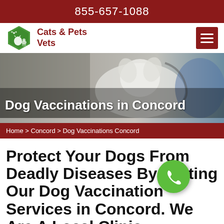855-657-1088
[Figure (logo): Cats & Pets Vets logo with green hexagon containing cat and paw print silhouettes, with brand name 'Cats & Pets Vets' in dark red]
[Figure (photo): Hero banner showing a white fluffy dog being examined by a veterinarian wearing blue gloves with a stethoscope]
Dog Vaccinations in Concord
Home > Concord > Dog Vaccinations Concord
Protect Your Dogs From Deadly Diseases By Getting Our Dog Vaccination Services in Concord. We Are A Local Clinic Providing Small Dog